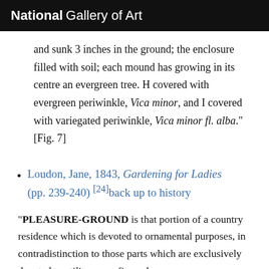National Gallery of Art
and sunk 3 inches in the ground; the enclosure filled with soil; each mound has growing in its centre an evergreen tree. H covered with evergreen periwinkle, Vica minor, and I covered with variegated periwinkle, Vica minor fl. alba." [Fig. 7]
Loudon, Jane, 1843, Gardening for Ladies (pp. 239-240) [24]back up to history
"PLEASURE-GROUND is that portion of a country residence which is devoted to ornamental purposes, in contradistinction to those parts which are exclusively devoted to utility or profit, such as